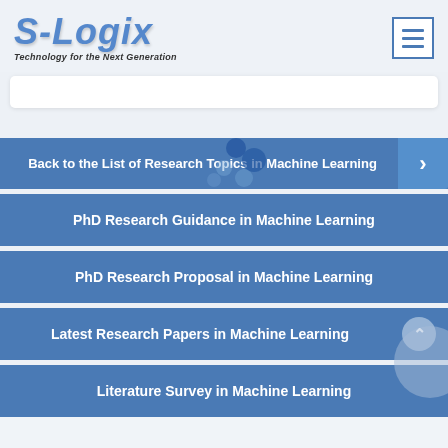[Figure (logo): S-Logix logo with tagline 'Technology for the Next Generation']
Back to the List of Research Topics in Machine Learning
PhD Research Guidance in Machine Learning
PhD Research Proposal in Machine Learning
Latest Research Papers in Machine Learning
Literature Survey in Machine Learning